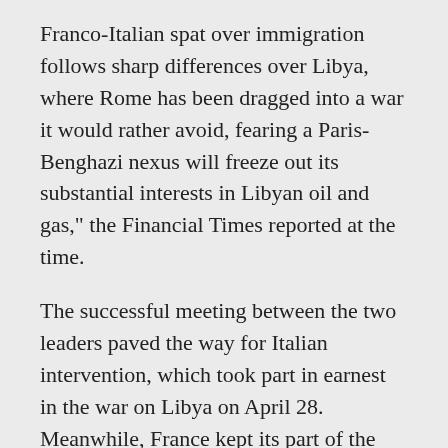Franco-Italian spat over immigration follows sharp differences over Libya, where Rome has been dragged into a war it would rather avoid, fearing a Paris-Benghazi nexus will freeze out its substantial interests in Libyan oil and gas," the Financial Times reported at the time.
The successful meeting between the two leaders paved the way for Italian intervention, which took part in earnest in the war on Libya on April 28. Meanwhile, France kept its part of the bargain, and on November 1 of that same year, Mario Draghi succeeded Jean-Claude Trichet as the President of the European Central Bank.
Both countries benefited, albeit Libya was destroyed.
It is difficult to imagine that Berlusconi, a repulsive